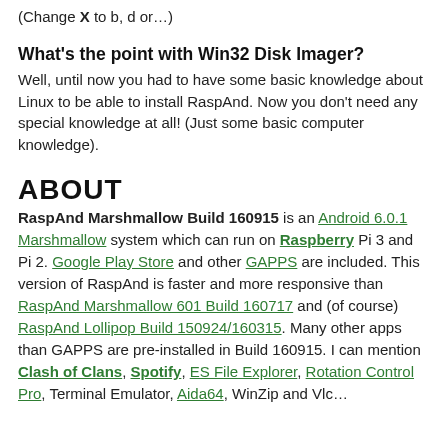(Change X to b, d or…)
What's the point with Win32 Disk Imager?
Well, until now you had to have some basic knowledge about Linux to be able to install RaspAnd. Now you don't need any special knowledge at all! (Just some basic computer knowledge).
ABOUT
RaspAnd Marshmallow Build 160915 is an Android 6.0.1 Marshmallow system which can run on Raspberry Pi 3 and Pi 2. Google Play Store and other GAPPS are included. This version of RaspAnd is faster and more responsive than RaspAnd Marshmallow 601 Build 160717 and (of course) RaspAnd Lollipop Build 150924/160315. Many other apps than GAPPS are pre-installed in Build 160915. I can mention Clash of Clans, Spotify, ES File Explorer, Rotation Control Pro, Terminal Emulator, Aida64, WinZip and Vlc…